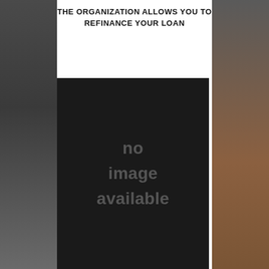THE ORGANIZATION ALLOWS YOU TO REFINANCE YOUR LOAN
[Figure (photo): No image available placeholder — dark black rectangle with 'no image available' text in dark gray]